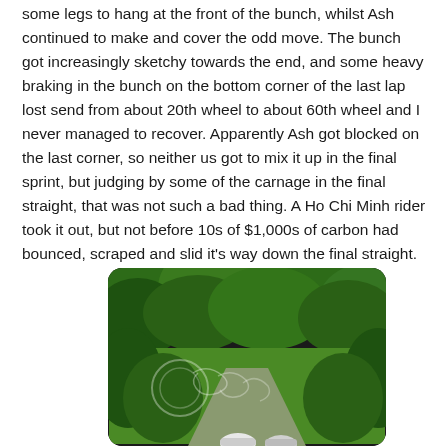some legs to hang at the front of the bunch, whilst Ash continued to make and cover the odd move. The bunch got increasingly sketchy towards the end, and some heavy braking in the bunch on the bottom corner of the last lap lost send from about 20th wheel to about 60th wheel and I never managed to recover. Apparently Ash got blocked on the last corner, so neither us got to mix it up in the final sprint, but judging by some of the carnage in the final straight, that was not such a bad thing. A Ho Chi Minh rider took it out, but not before 10s of $1,000s of carbon had bounced, scraped and slid it's way down the final straight.
[Figure (photo): Photo of cyclists riding through a lush green tree-lined road, with decorative dragon/Chinese motif overlay visible in the lower-left area. A cyclist with a white helmet is visible at the bottom of the frame.]